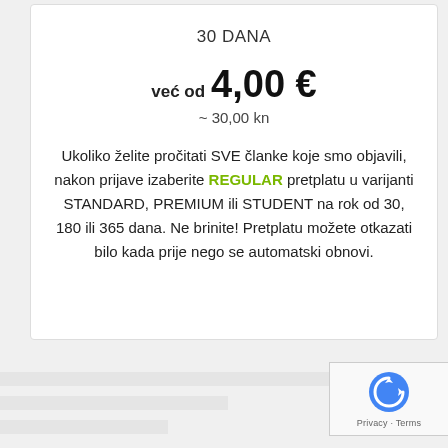30 DANA
već od 4,00 €
~ 30,00 kn
Ukoliko želite pročitati SVE članke koje smo objavili, nakon prijave izaberite REGULAR pretplatu u varijanti STANDARD, PREMIUM ili STUDENT na rok od 30, 180 ili 365 dana. Ne brinite! Pretplatu možete otkazati bilo kada prije nego se automatski obnovi.
[Figure (logo): reCAPTCHA logo with Privacy and Terms text]